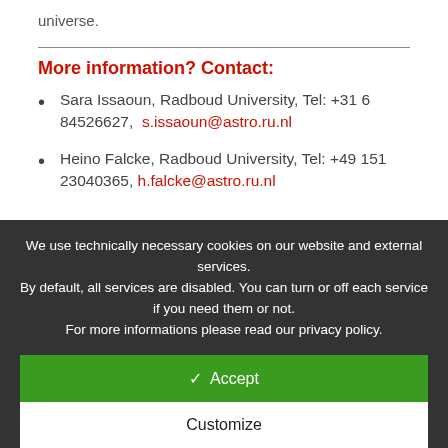universe.
More information? Contact:
Sara Issaoun, Radboud University, Tel: +31 6 84526627, s.issaoun@astro.ru.nl
Heino Falcke, Radboud University, Tel: +49 151 23040365, h.falcke@astro.ru.nl
We use technically necessary cookies on our website and external services. By default, all services are disabled. You can turn or off each service if you need them or not. For more informations please read our privacy policy.
✓ Accept
Customize